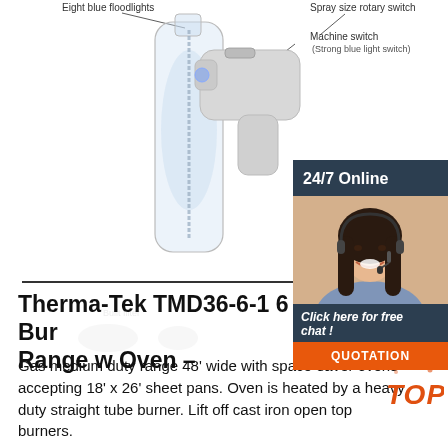[Figure (photo): Diagram of a handheld spray/sanitizer gun device with labeled callouts: 'Eight blue floodlights', 'Spray size rotary switch', 'Machine switch (Strong blue light switch)', 'Built filter'. A transparent bottle is attached.]
[Figure (photo): Customer service widget showing a woman with headset smiling, dark teal background, '24/7 Online' header, 'Click here for free chat!' text, and orange QUOTATION button.]
Therma-Tek TMD36-6-1 6 Bur... Range w Oven –
Gas medium duty range 48' wide with space-saver ovens accepting 18' x 26' sheet pans. Oven is heated by a heavy duty straight tube burner. Lift off cast iron open top burners.